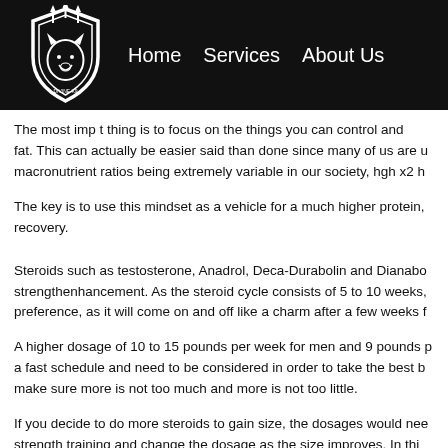Home  Services  About Us
[Figure (logo): Shield logo with wolf head and arrows, white on black background]
The most important thing is to focus on the things you can control and fat. This can actually be easier said than done since many of us are u macronutrient ratios being extremely variable in our society, hgh x2 h
The key is to use this mindset as a vehicle for a much higher protein, recovery.
Steroids such as testosterone, Anadrol, Deca-Durabolin and Dianabo strengthenhancement. As the steroid cycle consists of 5 to 10 weeks, preference, as it will come on and off like a charm after a few weeks f
A higher dosage of 10 to 15 pounds per week for men and 9 pounds p a fast schedule and need to be considered in order to take the best b make sure more is not too much and more is not too little.
If you decide to do more steroids to gain size, the dosages would nee strength training and change the dosage as the size improves. In thi